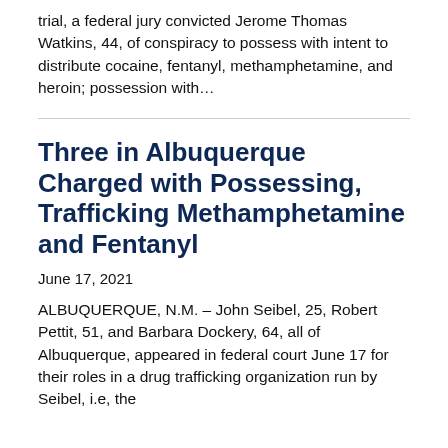trial, a federal jury convicted Jerome Thomas Watkins, 44, of conspiracy to possess with intent to distribute cocaine, fentanyl, methamphetamine, and heroin; possession with…
Three in Albuquerque Charged with Possessing, Trafficking Methamphetamine and Fentanyl
June 17, 2021
ALBUQUERQUE, N.M. – John Seibel, 25, Robert Pettit, 51, and Barbara Dockery, 64, all of Albuquerque, appeared in federal court June 17 for their roles in a drug trafficking organization run by Seibel, i.e, the